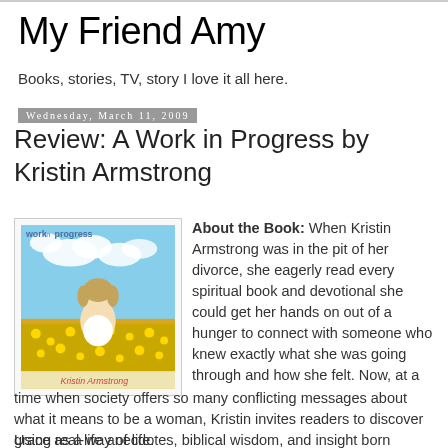My Friend Amy
Books, stories, TV, story I love it all here.
Wednesday, March 11, 2009
Review: A Work in Progress by Kristin Armstrong
[Figure (photo): Book cover of 'work in progress' by Kristin Armstrong, showing a woman sitting in a field of yellow flowers under a blue sky with clouds]
About the Book: When Kristin Armstrong was in the pit of her divorce, she eagerly read every spiritual book and devotional she could get her hands on out of a hunger to connect with someone who knew exactly what she was going through and how she felt. Now, at a time when society offers so many conflicting messages about what it means to be a woman, Kristin invites readers to discover grace as a way of life.
Using real-life anecdotes, biblical wisdom, and insight born